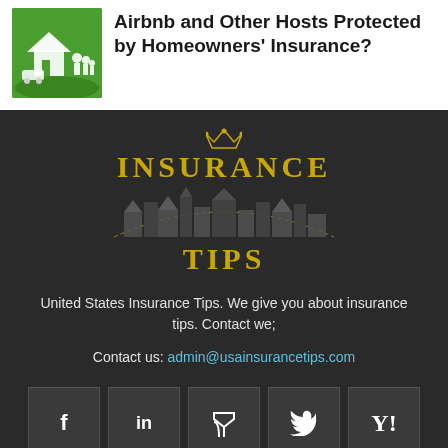[Figure (illustration): Green background thumbnail image with white house icon and family silhouettes]
Airbnb and Other Hosts Protected by Homeowners' Insurance?
[Figure (logo): Insurance Tips logo with golden text INSURANCE TIPS and illustrated building/castle graphic on dark background]
United States Insurance Tips. We give you about insurance tips. Contact we;
Contact us: admin@usainsurancetips.com
[Figure (infographic): Social media icon buttons: Facebook (f), LinkedIn (in), RSS feed, Twitter bird, Yahoo (Y!)]